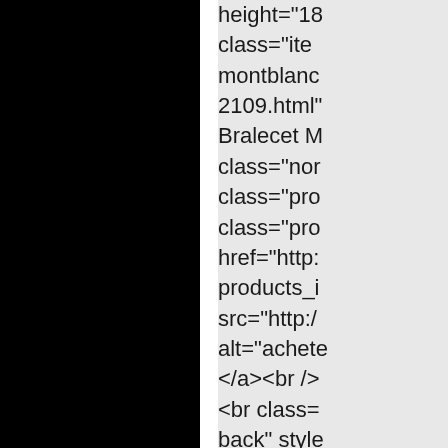[Figure (other): Large black rectangle filling the left portion of the page]
height="18"
class="ite
montblanc
2109.html"
Bralecet M
class="nor
class="pro
class="pro
href="http:
products_i
src="http:/
alt="achete
</a><br />
<br class=
back" style
star-08451
5914.html"
src="http:/
35228.jpg"
Montre [6f.
Round Mo
id="listimg
href="http: